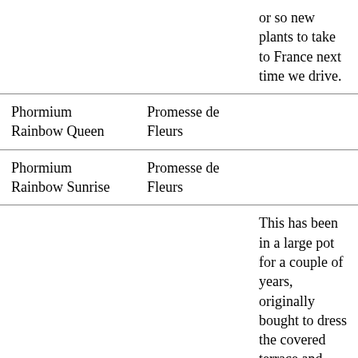|  |  |  |
| --- | --- | --- |
|  |  | or so new plants to take to France next time we drive. |
| Phormium Rainbow Queen | Promesse de Fleurs |  |
| Phormium Rainbow Sunrise | Promesse de Fleurs |  |
|  |  | This has been in a large pot for a couple of years, originally bought to dress the covered terrace and disguise some rather ugly downpipes. I'd always vowed I |